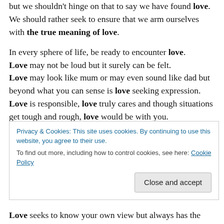but we shouldn't hinge on that to say we have found love. We should rather seek to ensure that we arm ourselves with the true meaning of love.
In every sphere of life, be ready to encounter love. Love may not be loud but it surely can be felt. Love may look like mum or may even sound like dad but beyond what you can sense is love seeking expression. Love is responsible, love truly cares and though situations get tough and rough, love would be with you. Love may not appear in the form you expect, but love will deliver
Privacy & Cookies: This site uses cookies. By continuing to use this website, you agree to their use. To find out more, including how to control cookies, see here: Cookie Policy
Love seeks to know your own view but always has the